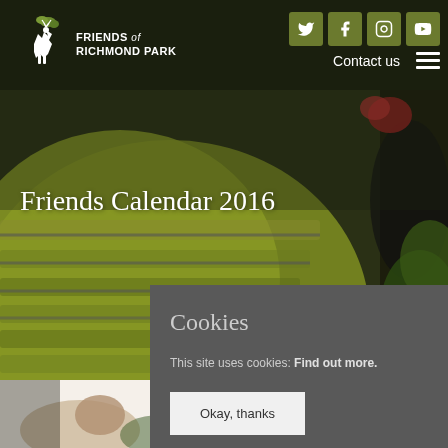[Figure (photo): Close-up photo of a green woodpecker bird with yellow-green plumage, grey wing markings, and red on head, serving as hero background image]
Friends of Richmond Park — navigation header with logo, social icons (Twitter, Facebook, Instagram, YouTube), Contact us link, and hamburger menu
Friends Calendar 2016
Cookies
This site uses cookies: Find out more.
Okay, thanks
[Figure (photo): Partial view of a deer or animal in a garden/park setting at the bottom of the page]